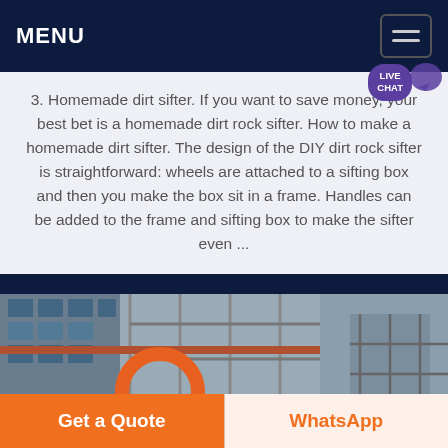MENU
3. Homemade dirt sifter. If you want to save money, your best bet is a homemade dirt rock sifter. How to make a homemade dirt sifter. The design of the DIY dirt rock sifter is straightforward: wheels are attached to a sifting box and then you make the box sit in a frame. Handles can be added to the frame and sifting box to make the sifter even ...
[Figure (photo): Construction site photo showing scaffolding, pipes, and an orange circular element]
Get a Quote
WhatsApp